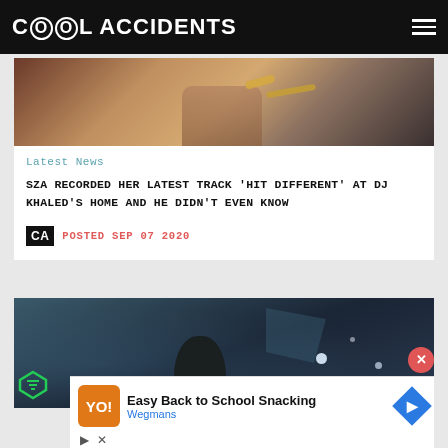Cool Accidents
[Figure (photo): Close-up photo of a person's hand with jewelry including a ring and bracelet]
Latest News
SZA RECORDED HER LATEST TRACK 'HIT DIFFERENT' AT DJ KHALED'S HOME AND HE DIDN'T EVEN KNOW
CA  POSTED SEP 07 2020
[Figure (photo): Dark cinematic photo showing a person's head silhouette with bokeh light orbs in background]
[Figure (screenshot): Advertisement overlay: Easy Back to School Snacking by Wegmans with logo and navigation arrow]